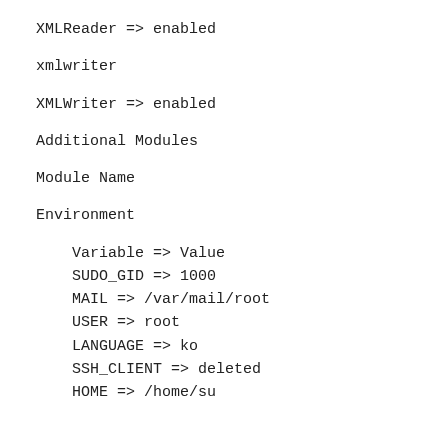XMLReader => enabled
xmlwriter
XMLWriter => enabled
Additional Modules
Module Name
Environment
| Variable | Value |
| --- | --- |
| Variable | Value |
| SUDO_GID | 1000 |
| MAIL | /var/mail/root |
| USER | root |
| LANGUAGE | ko |
| SSH_CLIENT | deleted |
| HOME | /home/su |